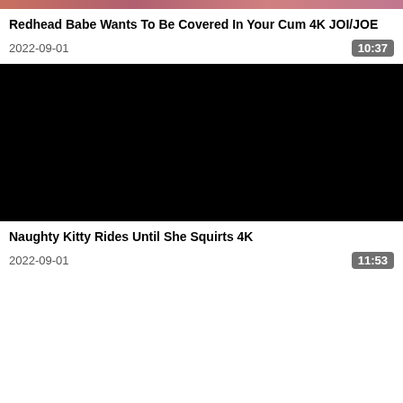[Figure (photo): Partial video thumbnail strip at top of page, mostly cropped]
Redhead Babe Wants To Be Covered In Your Cum 4K JOI/JOE
2022-09-01
10:37
[Figure (photo): Black video thumbnail for second video]
Naughty Kitty Rides Until She Squirts 4K
2022-09-01
11:53